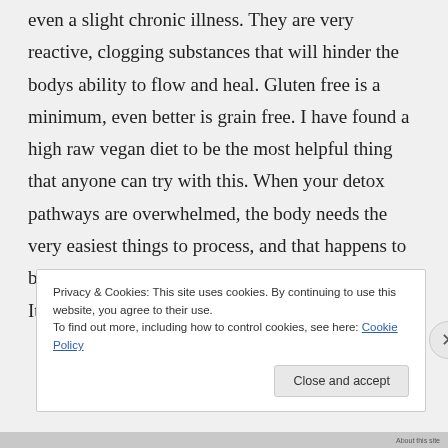even a slight chronic illness. They are very reactive, clogging substances that will hinder the bodys ability to flow and heal. Gluten free is a minimum, even better is grain free. I have found a high raw vegan diet to be the most helpful thing that anyone can try with this. When your detox pathways are overwhelmed, the body needs the very easiest things to process, and that happens to be fruit and vegetables. Making vids on this soon. It's
Privacy & Cookies: This site uses cookies. By continuing to use this website, you agree to their use.
To find out more, including how to control cookies, see here: Cookie Policy
About this site